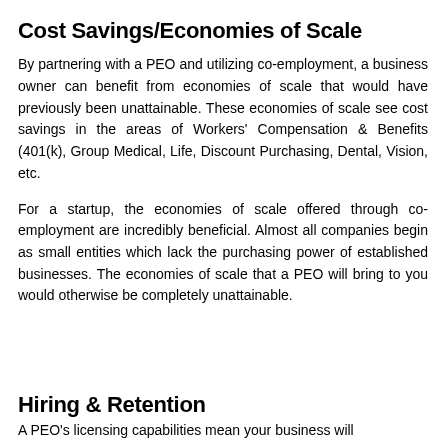Cost Savings/Economies of Scale
By partnering with a PEO and utilizing co-employment, a business owner can benefit from economies of scale that would have previously been unattainable. These economies of scale see cost savings in the areas of Workers' Compensation & Benefits (401(k), Group Medical, Life, Discount Purchasing, Dental, Vision, etc.
For a startup, the economies of scale offered through co-employment are incredibly beneficial. Almost all companies begin as small entities which lack the purchasing power of established businesses. The economies of scale that a PEO will bring to you would otherwise be completely unattainable.
Hiring & Retention
A PEO's licensing capabilities mean your business will